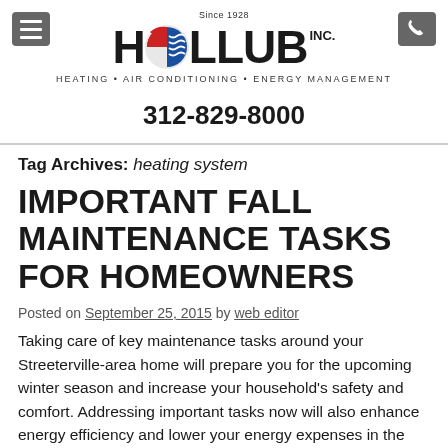Hollub Inc. — Heating • Air Conditioning • Energy Management — Since 1928
312-829-8000
Tag Archives: heating system
IMPORTANT FALL MAINTENANCE TASKS FOR HOMEOWNERS
Posted on September 25, 2015 by web editor
Taking care of key maintenance tasks around your Streeterville-area home will prepare you for the upcoming winter season and increase your household's safety and comfort. Addressing important tasks now will also enhance energy efficiency and lower your energy expenses in the